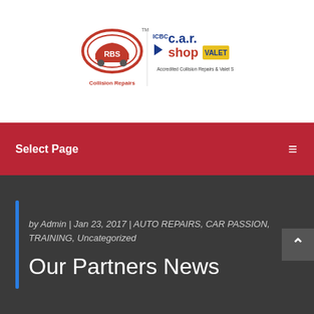[Figure (logo): RBS Collision Repairs logo and ICBC c.a.r. shop VALET Accredited Collision Repairs & Valet Service logo]
Select Page
by Admin | Jan 23, 2017 | AUTO REPAIRS, CAR PASSION, TRAINING, Uncategorized
Our Partners News
Share This
[Figure (screenshot): Bottom strip showing Siberian CA and ABRASION RESISTANCE TEST text on dark background]